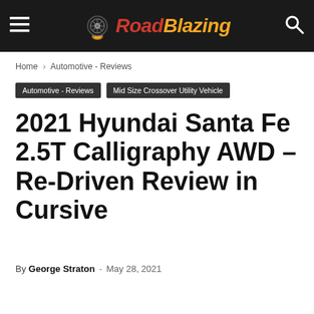RoadBlazing
Home › Automotive - Reviews
Automotive - Reviews
Mid Size Crossover Utility Vehicle
2021 Hyundai Santa Fe 2.5T Calligraphy AWD – Re-Driven Review in Cursive
By George Straton - May 28, 2021